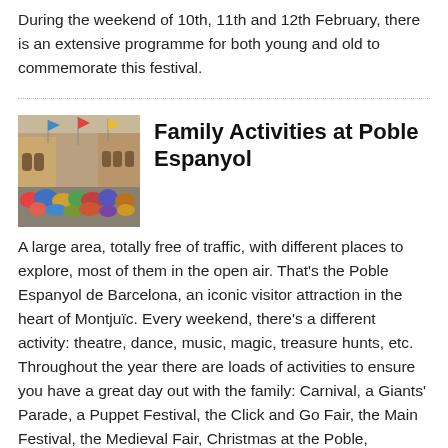During the weekend of 10th, 11th and 12th February, there is an extensive programme for both young and old to commemorate this festival.
[Figure (photo): Outdoor plaza at Poble Espanyol with a crowd of people gathered, buildings with arched walkways in background, colorful flags and balloons visible.]
Family Activities at Poble Espanyol
A large area, totally free of traffic, with different places to explore, most of them in the open air. That's the Poble Espanyol de Barcelona, an iconic visitor attraction in the heart of Montjuïc. Every weekend, there's a different activity: theatre, dance, music, magic, treasure hunts, etc. Throughout the year there are loads of activities to ensure you have a great day out with the family: Carnival, a Giants' Parade, a Puppet Festival, the Click and Go Fair, the Main Festival, the Medieval Fair, Christmas at the Poble, Halloween... and many more